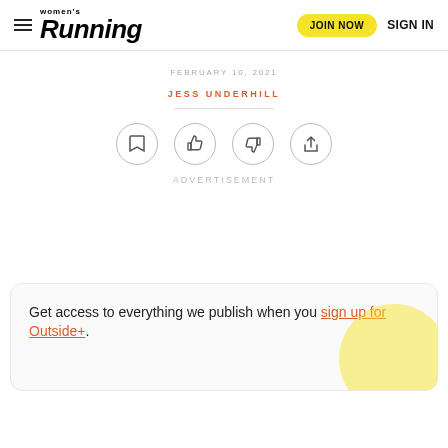women's Running | JOIN NOW | SIGN IN
FEBRUARY 10, 2021
JESS UNDERHILL
[Figure (other): Four circular icon buttons: bookmark, thumbs up, thumbs down, share]
ADVERTISEMENT
Get access to everything we publish when you sign up for Outside+.